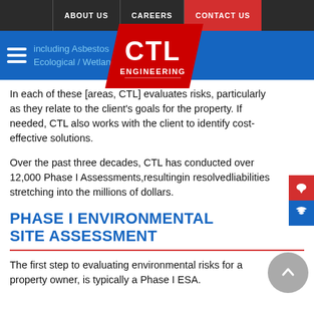ABOUT US | CAREERS | CONTACT US
[Figure (logo): CTL Engineering logo — red diagonal background with white 'CTL' text and 'ENGINEERING' below on a red/white shield shape]
including Asbestos
Ecological / Wetlands Assessments
In each of these [areas, CTL] evaluates risks, particularly as they relate to the client's goals for the property. If needed, CTL also works with the client to identify cost-effective solutions.
Over the past three decades, CTL has conducted over 12,000 Phase I Assessments,resultingin resolvedliabilities stretching into the millions of dollars.
PHASE I ENVIRONMENTAL SITE ASSESSMENT
The first step to evaluating environmental risks for a property owner, is typically a Phase I ESA.